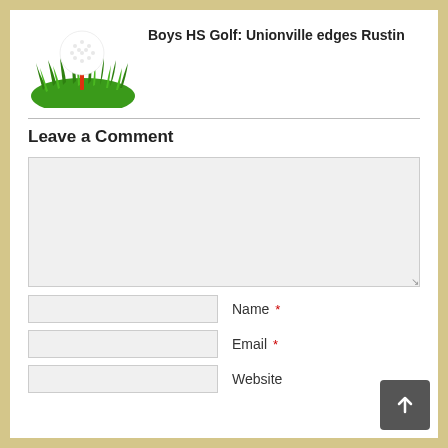[Figure (illustration): Golf ball on a tee sitting on green grass, clip-art style illustration]
Boys HS Golf: Unionville edges Rustin
Leave a Comment
Comment textarea (empty)
Name *
Email *
Website